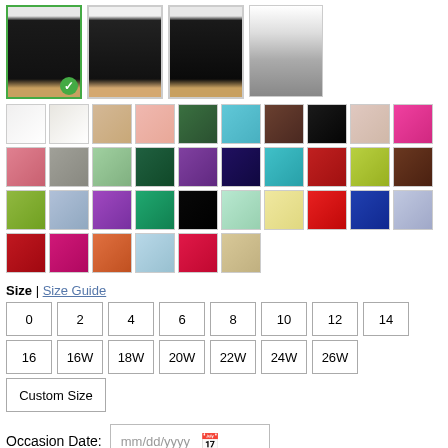[Figure (photo): Four thumbnail images of a dress on a mannequin. First image is selected (green border with checkmark). Dress appears to be a short black dress.]
[Figure (photo): Grid of fabric color swatches showing approximately 36 different color options including white, ivory, champagne, pink, green, turquoise, brown, black, nude, hot pink, blush, gray, light green, dark green, purple, navy, teal, red, lime, chocolate, olive, light blue, violet, emerald, black, mint, yellow, red-orange, royal blue, lavender, dark red, fuchsia, orange, light blue, hot red, champagne.]
Size | Size Guide
[Figure (other): Size selection buttons: 0, 2, 4, 6, 8, 10, 12, 14 (standard sizes), 16, 16W, 18W, 20W, 22W, 24W, 26W (plus sizes), Custom Size]
Occasion Date: mm/dd/yyyy
Note: (optional)